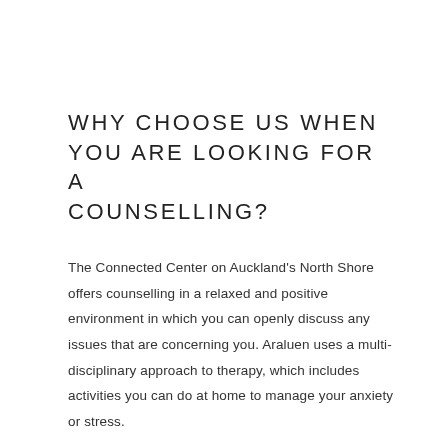WHY CHOOSE US WHEN YOU ARE LOOKING FOR A COUNSELLING?
The Connected Center on Auckland's North Shore offers counselling in a relaxed and positive environment in which you can openly discuss any issues that are concerning you. Araluen uses a multi-disciplinary approach to therapy, which includes activities you can do at home to manage your anxiety or stress.